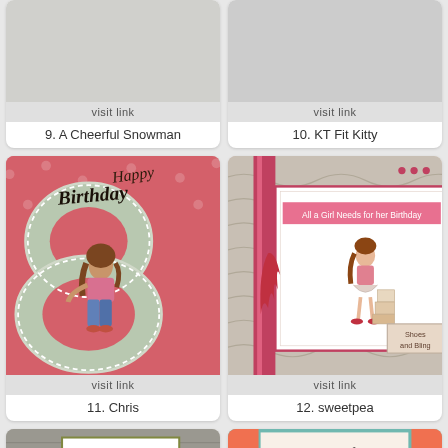[Figure (photo): Partial card image at top - A Cheerful Snowman craft card]
visit link
9. A Cheerful Snowman
[Figure (photo): Partial card image at top - KT Fit Kitty craft card]
visit link
10. KT Fit Kitty
[Figure (photo): Happy Birthday card with illustrated girl sitting on number 8]
visit link
11. Chris
[Figure (photo): Birthday card with illustrated girl carrying shoe boxes, text 'All a Girl Needs for her Birthday']
visit link
12. sweetpea
[Figure (photo): Partially visible craft card with girl figure, grey/green colors]
[Figure (photo): Partially visible card with text 'thinking of you' and illustrated girl with glasses]